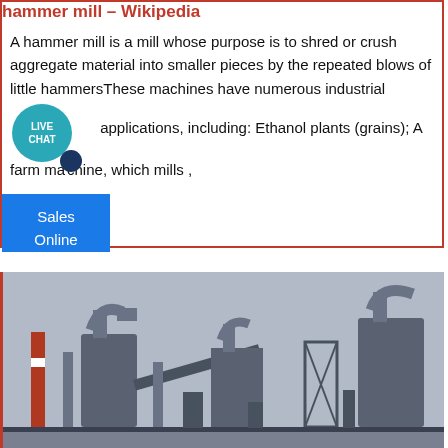hammer mill - Wikipedia
A hammer mill is a mill whose purpose is to shred or crush aggregate material into smaller pieces by the repeated blows of little hammersThese machines have numerous industrial applications, including: Ethanol plants (grains); A farm machine, which mills ,
Sales Online
[Figure (photo): Industrial factory/mill complex showing large cylindrical tanks, pipes, conveyors, chimneys, and scaffolding against a grey sky — heavy industrial machinery, likely a hammer mill plant.]